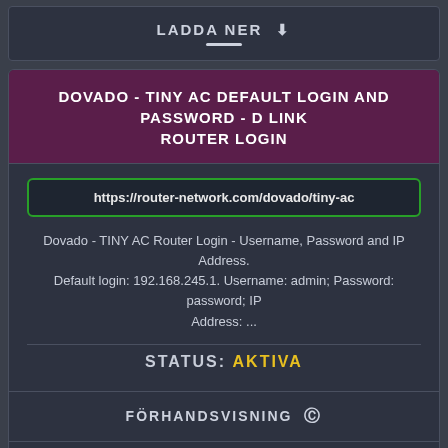LADDA NER ↓
DOVADO - TINY AC DEFAULT LOGIN AND PASSWORD - D LINK ROUTER LOGIN
https://router-network.com/dovado/tiny-ac
Dovado - TINY AC Router Login - Username, Password and IP Address. Default login: 192.168.245.1. Username: admin; Password: password; IP Address: ...
STATUS: AKTIVA
FÖRHANDSVISNING 👁
LADDA NER ↓
Denna webbplats använder cookies för att säkerställa att du får den bästa upplevelsen på vår webbplats.
OK